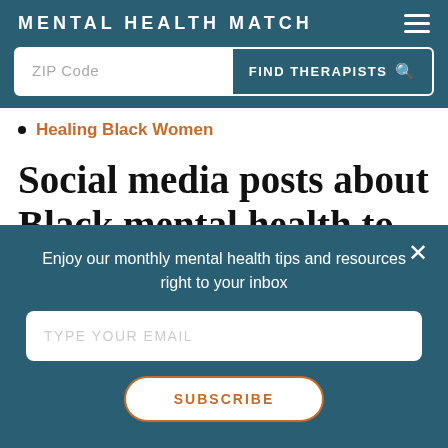MENTAL HEALTH MATCH
ZIP Code  FIND THERAPISTS
Healing Black Women
Social media posts about Black mental health to
Enjoy our monthly mental health tips and resources right to your inbox
TYPE YOUR EMAIL
SUBSCRIBE